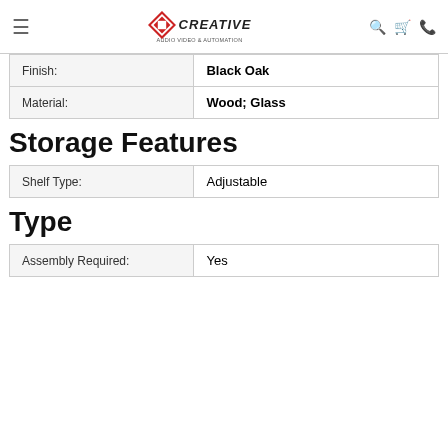Creative Audio Video & Automation
| Finish: | Black Oak |
| Material: | Wood; Glass |
Storage Features
| Shelf Type: | Adjustable |
Type
| Assembly Required: | Yes |